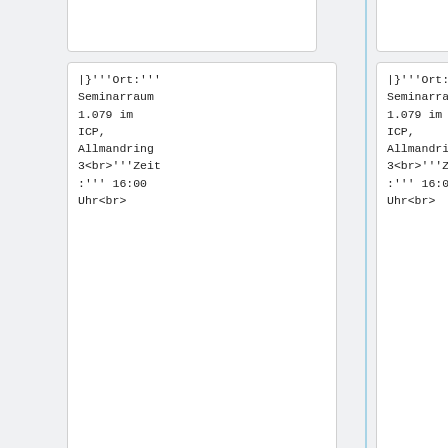|}'''Ort:''' Seminarraum 1.079 im ICP, Allmandring 3<br>'''Zeit:''' 16:00 Uhr<br>
|}'''Ort:''' Seminarraum 1.079 im ICP, Allmandring 3<br>'''Zeit:''' 16:00 Uhr<br>
Line 21:
Line 21:
{|
valign="top"
style="width:100%;"
{|
valign="top"
style="width:100%;"
|
style="border:1px solid #AAA;
padding:10px
|
style="border:1px solid #AAA;
padding:10px